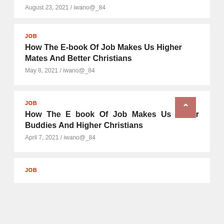August 23, 2021 / iwano@_84
JOB
How The E-book Of Job Makes Us Higher Mates And Better Christians
May 8, 2021 / iwano@_84
JOB
How The E book Of Job Makes Us Better Buddies And Higher Christians
April 7, 2021 / iwano@_84
JOB